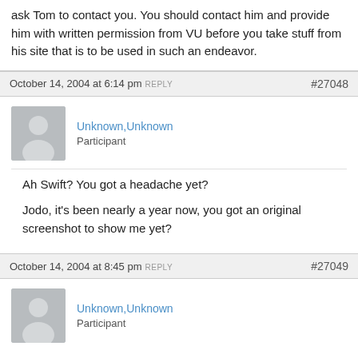ask Tom to contact you. You should contact him and provide him with written permission from VU before you take stuff from his site that is to be used in such an endeavor.
October 14, 2004 at 6:14 pm REPLY #27048
[Figure (illustration): Generic user avatar placeholder - grey silhouette of a person on grey background]
Unknown,Unknown
Participant
Ah Swift? You got a headache yet?

Jodo, it's been nearly a year now, you got an original screenshot to show me yet?
October 14, 2004 at 8:45 pm REPLY #27049
[Figure (illustration): Generic user avatar placeholder - grey silhouette of a person on grey background]
Unknown,Unknown
Participant